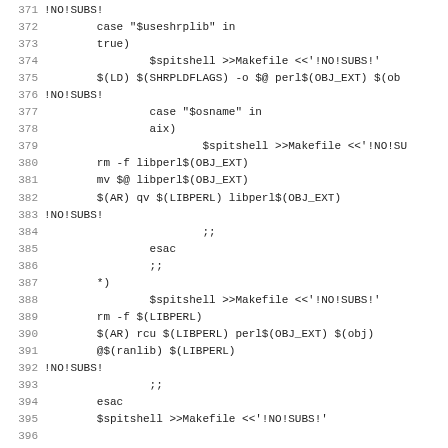Source code listing lines 371-402, shell/makefile script code